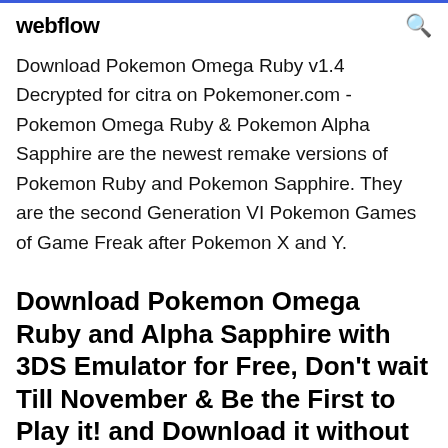webflow
Download Pokemon Omega Ruby v1.4 Decrypted for citra on Pokemoner.com - Pokemon Omega Ruby & Pokemon Alpha Sapphire are the newest remake versions of Pokemon Ruby and Pokemon Sapphire. They are the second Generation VI Pokemon Games of Game Freak after Pokemon X and Y.
Download Pokemon Omega Ruby and Alpha Sapphire with 3DS Emulator for Free, Don't wait Till November & Be the First to Play it! and Download it without No